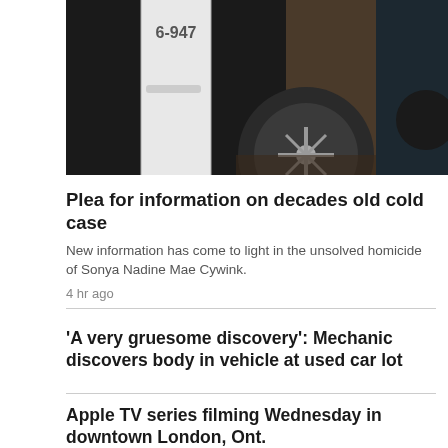[Figure (photo): Close-up of a police vehicle door with number 6-947 visible, showing black and white car door and tire/wheel on ground]
Plea for information on decades old cold case
New information has come to light in the unsolved homicide of Sonya Nadine Mae Cywink.
4 hr ago
'A very gruesome discovery': Mechanic discovers body in vehicle at used car lot
Apple TV series filming Wednesday in downtown London, Ont.